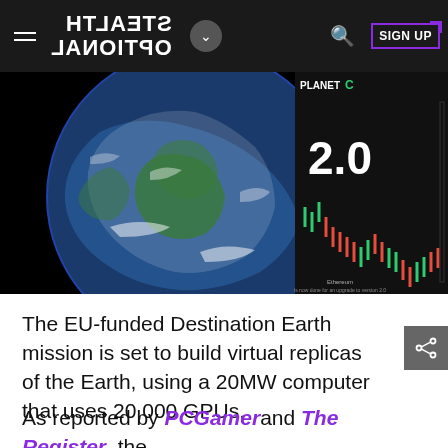STEALTH OPTIONAL
[Figure (screenshot): Hero image showing Earth from space on the left with a black background, and a stock trading chart overlay on the right showing '2.0' in large white text with colorful candlestick chart and Planet C logo]
The EU-funded Destination Earth mission is set to build virtual replicas of the Earth, using a 20MW computer that uses 20,000 GPUs.
As reported by PCGamer and The Register, the